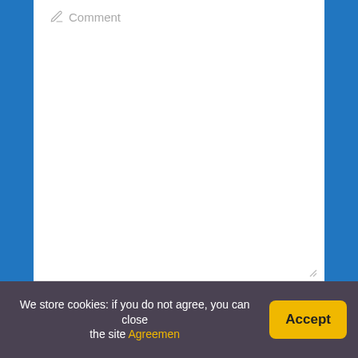[Figure (screenshot): Web form interface with Comment textarea, Name, Email, Website input fields, and a save checkbox, on a blue background with white card]
Comment
Name*
Email*
Website
Save my name, email, and site URL in my browser for next time I post a comment.
We store cookies: if you do not agree, you can close the site Agreemen
Accept